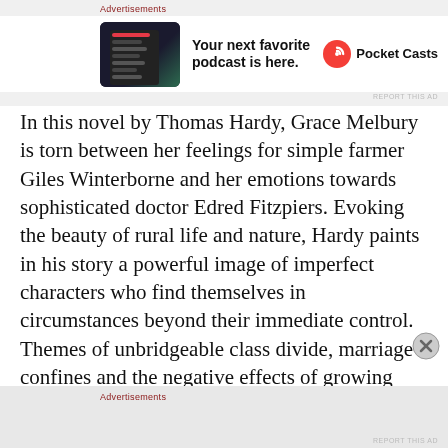[Figure (screenshot): Advertisement banner for Pocket Casts podcast app showing phone device image, headline 'Your next favorite podcast is here.' and Pocket Casts logo]
In this novel by Thomas Hardy, Grace Melbury is torn between her feelings for simple farmer Giles Winterborne and her emotions towards sophisticated doctor Edred Fitzpiers. Evoking the beauty of rural life and nature, Hardy paints in his story a powerful image of imperfect characters who find themselves in circumstances beyond their immediate control. Themes of unbridgeable class divide, marriage confines and the negative effects of growing industrialisation all feature in this great
[Figure (screenshot): Second Advertisements label at the bottom of the page]